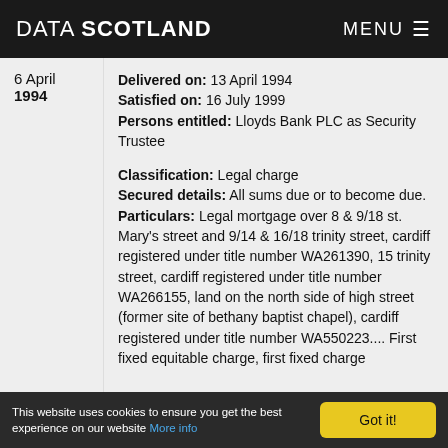DATA SCOTLAND   MENU ≡
6 April 1994
Delivered on: 13 April 1994
Satisfied on: 16 July 1999
Persons entitled: Lloyds Bank PLC as Security Trustee

Classification: Legal charge
Secured details: All sums due or to become due.
Particulars: Legal mortgage over 8 & 9/18 st. Mary's street and 9/14 & 16/18 trinity street, cardiff registered under title number WA261390, 15 trinity street, cardiff registered under title number WA266155, land on the north side of high street (former site of bethany baptist chapel), cardiff registered under title number WA550223.... First fixed equitable charge, first fixed charge
This website uses cookies to ensure you get the best experience on our website More info